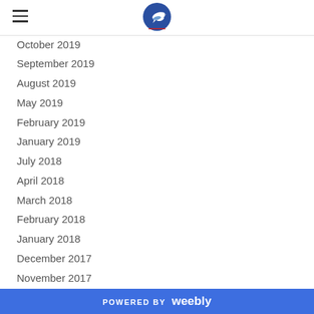[Logo: Conservation Society bird logo]
October 2019
September 2019
August 2019
May 2019
February 2019
January 2019
July 2018
April 2018
March 2018
February 2018
January 2018
December 2017
November 2017
October 2017
August 2017
May 2017
POWERED BY weebly